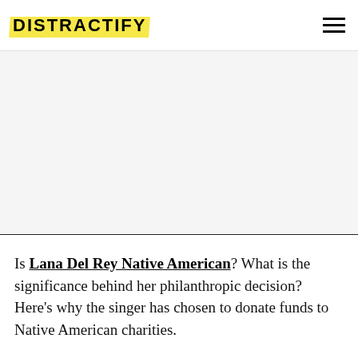DISTRACTIFY
[Figure (other): Advertisement/blank area placeholder]
Is Lana Del Rey Native American? What is the significance behind her philanthropic decision? Here's why the singer has chosen to donate funds to Native American charities.